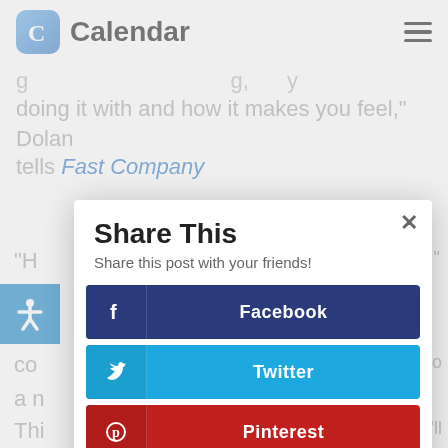Calendar
doing it with and how it makes you feel," Dolan tells Fast Company
[Figure (screenshot): Share This modal dialog with social media sharing buttons for Facebook, Twitter, Pinterest, and LinkedIn]
Share This
Share this post with your friends!
Facebook
Twitter
Pinterest
LinkedIn